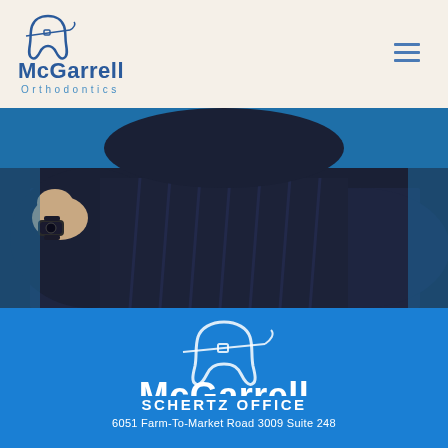[Figure (logo): McGarrell Orthodontics logo with tooth icon in header]
[Figure (photo): Person wearing dark navy cable-knit sweater with a watch, blue background, hero banner image]
[Figure (logo): McGarrell Orthodontics logo in white on blue background]
SCHERTZ OFFICE
6051 Farm-To-Market Road 3009 Suite 248